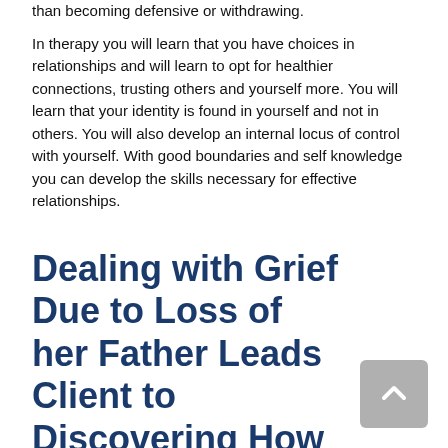than becoming defensive or withdrawing.

In therapy you will learn that you have choices in relationships and will learn to opt for healthier connections, trusting others and yourself more. You will learn that your identity is found in yourself and not in others. You will also develop an internal locus of control with yourself. With good boundaries and self knowledge you can develop the skills necessary for effective relationships.
Dealing with Grief Due to Loss of her Father Leads Client to Discovering How to Take Care of Herself